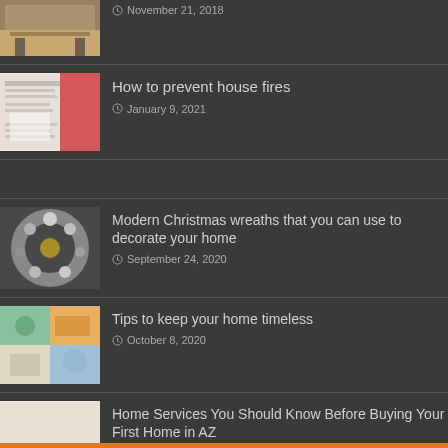[Figure (photo): Dining room table photo (cropped, top partial)]
November 21, 2018
How to prevent house fires
January 9, 2021
[Figure (photo): Modern Christmas wreath photo]
Modern Christmas wreaths that you can use to decorate your home
September 24, 2020
[Figure (photo): Collage of home tips images]
Tips to keep your home timeless
October 8, 2020
[Figure (photo): Living room with tulips photo]
Home Services You Should Know Before Buying Your First Home in AZ
September 30, 2020